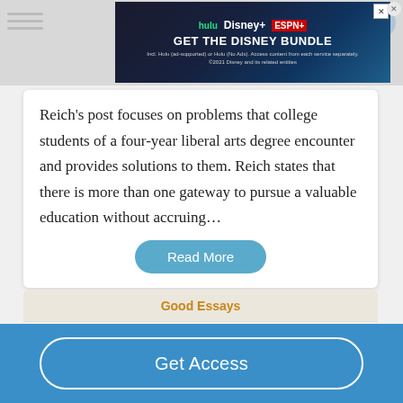[Figure (screenshot): Hulu Disney+ ESPN+ Get The Disney Bundle advertisement banner]
Reich's post focuses on problems that college students of a four-year liberal arts degree encounter and provides solutions to them. Reich states that there is more than one gateway to pursue a valuable education without accruing…
Read More
Good Essays
Ezra Pound's Honors College Education
• 497 Words
Get Access